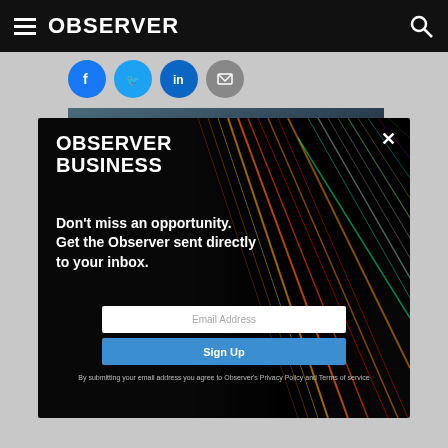OBSERVER
[Figure (screenshot): Article image — dark blue toned photo, partially visible behind modal]
BUREAU/AFP via Getty Images
[Figure (screenshot): Observer Business newsletter signup modal overlay with colorful light-streak background image. Contains OBSERVER BUSINESS heading, tagline 'Don't miss an opportunity. Get the Observer sent directly to your inbox.', email address input field, Sign Up button, and fine print about privacy policy. Close X button in top right.]
Within the art world, there's a lot of talk about how technology is disrupting the passages through